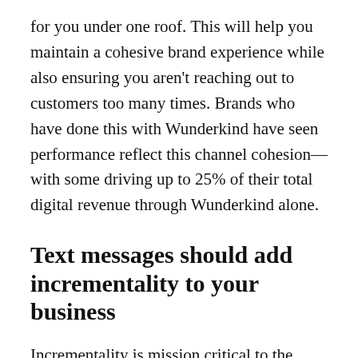for you under one roof. This will help you maintain a cohesive brand experience while also ensuring you aren't reaching out to customers too many times. Brands who have done this with Wunderkind have seen performance reflect this channel cohesion—with some driving up to 25% of their total digital revenue through Wunderkind alone.
Text messages should add incrementality to your business
Incrementality is mission critical to the